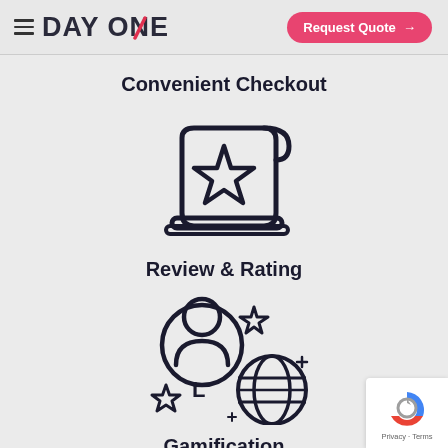[Figure (logo): Day One logo with hamburger menu icon and 'DAY ONE' text where the N in ONE has a red diagonal slash]
[Figure (other): Request Quote button with pink/red background and arrow]
Convenient Checkout
[Figure (illustration): Icon of a scroll/certificate with a star on it]
Review & Rating
[Figure (illustration): Gamification icon showing a person avatar with stars, letter L, and a globe/world map with sparkles]
Gamification
[Figure (other): reCAPTCHA badge with Privacy and Terms links]